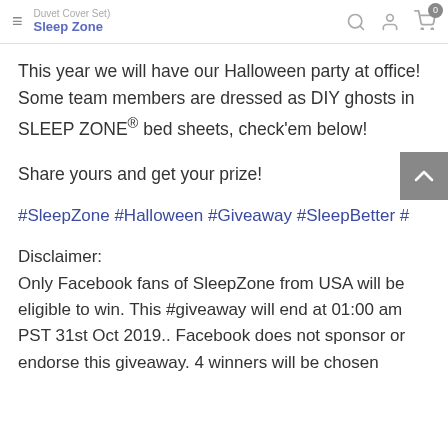Sleep Zone | Duvet Cover Set)
This year we will have our Halloween party at office! Some team members are dressed as DIY ghosts in SLEEP ZONE® bed sheets, check'em below!
Share yours and get your prize!
#SleepZone #Halloween #Giveaway #SleepBetter #
Disclaimer:
Only Facebook fans of SleepZone from USA will be eligible to win. This #giveaway will end at 01:00 am PST 31st Oct 2019.. Facebook does not sponsor or endorse this giveaway. 4 winners will be chosen